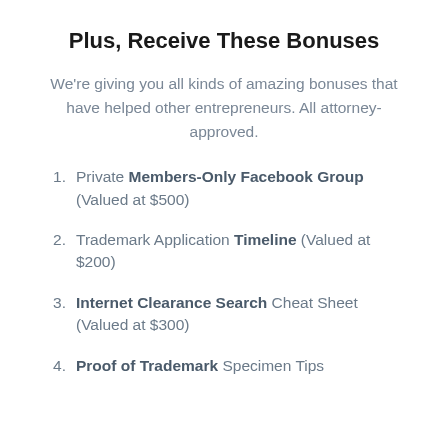Plus, Receive These Bonuses
We're giving you all kinds of amazing bonuses that have helped other entrepreneurs. All attorney-approved.
Private Members-Only Facebook Group (Valued at $500)
Trademark Application Timeline (Valued at $200)
Internet Clearance Search Cheat Sheet (Valued at $300)
Proof of Trademark Specimen Tips